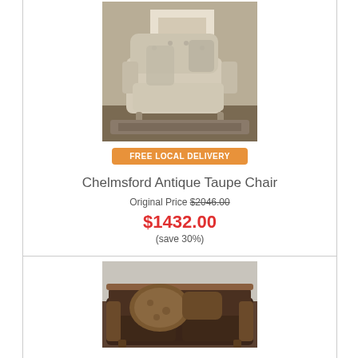[Figure (photo): Chelmsford Antique Taupe Chair - a light beige/taupe upholstered chair with tufted back and decorative pillows, shown in a living room setting with a fireplace in the background]
FREE LOCAL DELIVERY
Chelmsford Antique Taupe Chair
Original Price $2046.00
$1432.00
(save 30%)
[Figure (photo): Dark brown leather sofa/loveseat with ornate wooden trim and decorative toss pillows including a large fuzzy brown pillow, shown in a living room setting]